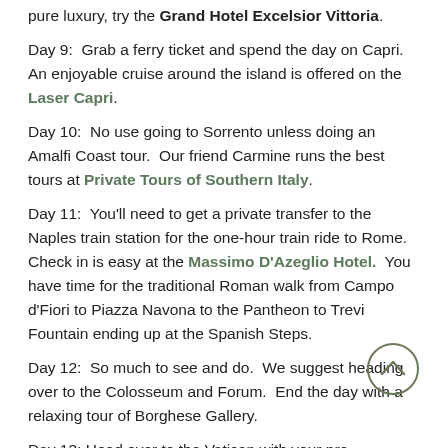pure luxury, try the Grand Hotel Excelsior Vittoria.
Day 9:  Grab a ferry ticket and spend the day on Capri.  An enjoyable cruise around the island is offered on the Laser Capri.
Day 10:  No use going to Sorrento unless doing an Amalfi Coast tour.  Our friend Carmine runs the best tours at Private Tours of Southern Italy.
Day 11:  You'll need to get a private transfer to the Naples train station for the one-hour train ride to Rome.  Check in is easy at the Massimo D'Azeglio Hotel.  You have time for the traditional Roman walk from Campo d'Fiori to Piazza Navona to the Pantheon to Trevi Fountain ending up at the Spanish Steps.
Day 12:  So much to see and do.  We suggest heading over to the Colosseum and Forum.  End the day with a relaxing tour of Borghese Gallery.
Day 13: Head over to the Vatican with your pre-purchased tickets to avoid the long, long lines.  Do the Vatican Museum, Sistine Chapel and Basilica.  If you have any strength left, check out Castel Sant'Angelo.